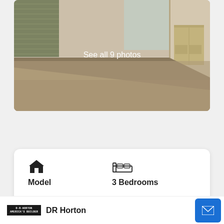[Figure (photo): Interior room photo showing empty room with beige carpet, white walls, window blinds on left, and open doorway to kitchen area on right. Overlay text reads 'See all 9 photos'.]
See all 9 photos
Model
3 Bedrooms
DR Horton